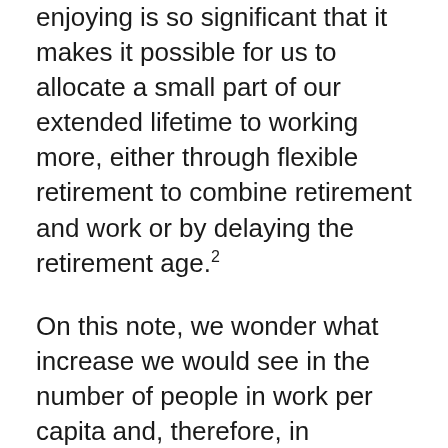enjoying is so significant that it makes it possible for us to allocate a small part of our extended lifetime to working more, either through flexible retirement to combine retirement and work or by delaying the retirement age.2
On this note, we wonder what increase we would see in the number of people in work per capita and, therefore, in economic growth if, during this decade (2020-2029), the next (2030-2039) and the one after that (2040-2049), the effective retirement age were increased to 66, 67 and 68 years, respectively. In annualised terms, economic growth would be 0.19 pps, 0.27